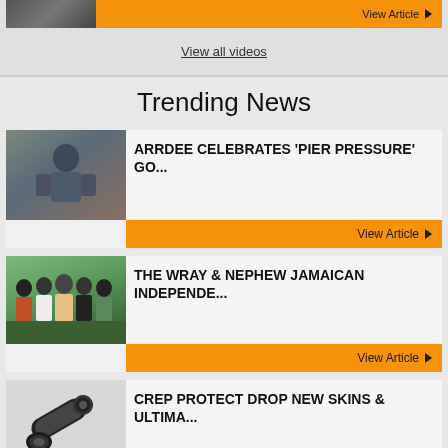[Figure (photo): Thumbnail image of people near a vehicle]
View Article ▶
View all videos
Trending News
[Figure (photo): ArrDee artist photo]
ARRDEE CELEBRATES 'PIER PRESSURE' GO...
View Article ▶
[Figure (photo): Group of people outdoors at Wray & Nephew Jamaican Independence event]
THE WRAY & NEPHEW JAMAICAN INDEPENDE...
View Article ▶
[Figure (photo): Crep Protect product canisters]
CREP PROTECT DROP NEW SKINS & ULTIMA...
View Article ▶